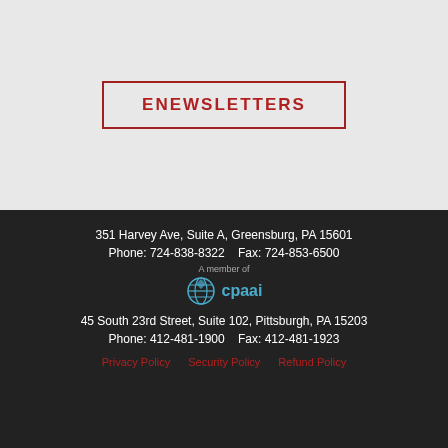ENEWSLETTERS
351 Harvey Ave, Suite A, Greensburg, PA 15601
Phone: 724-838-8322    Fax: 724-853-6500
[Figure (logo): cpaai logo with globe icon and blue text reading 'cpaai', with 'A member of' text above]
45 South 23rd Street, Suite 102, Pittsburgh, PA 15203
Phone: 412-481-1900    Fax: 412-481-1923
Privacy Policy   Security Policy   Refund Policy